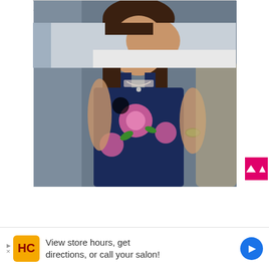[Figure (photo): A young girl talking on a pink/black phone, wearing a navy blue floral top with pink roses, a necklace, and a green bracelet, sitting on a couch. Facebook watermark visible at bottom left.]
??????
[Figure (photo): Partially visible second photo showing a person lying down, cropped at bottom of visible area.]
View store hours, get directions, or call your salon!